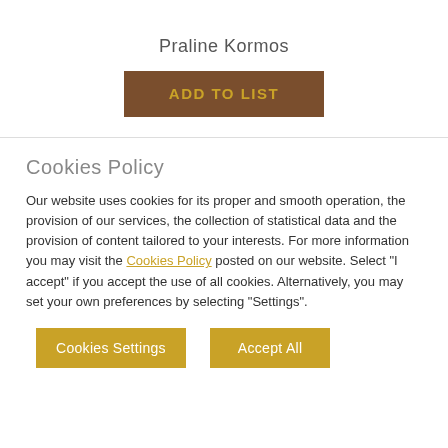Praline Kormos
ADD TO LIST
Cookies Policy
Our website uses cookies for its proper and smooth operation, the provision of our services, the collection of statistical data and the provision of content tailored to your interests. For more information you may visit the Cookies Policy posted on our website. Select "I accept" if you accept the use of all cookies. Alternatively, you may set your own preferences by selecting "Settings".
Cookies Settings
Accept All